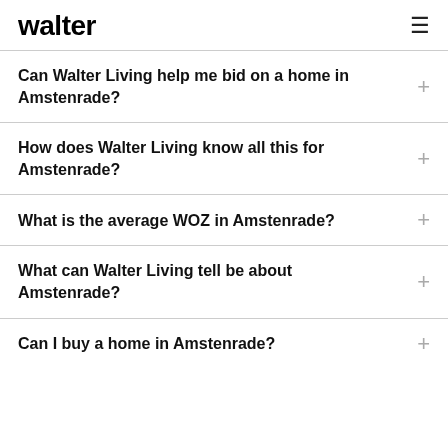walter
Can Walter Living help me bid on a home in Amstenrade?
How does Walter Living know all this for Amstenrade?
What is the average WOZ in Amstenrade?
What can Walter Living tell be about Amstenrade?
Can I buy a home in Amstenrade?